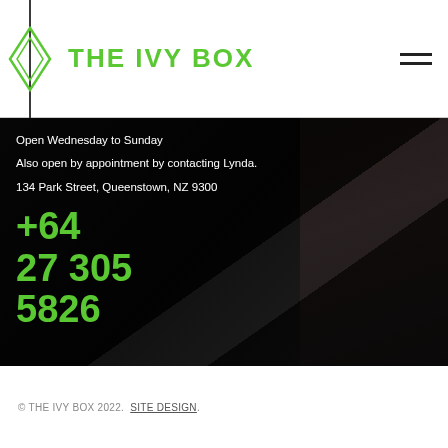THE IVY BOX
Open Wednesday to Sunday
Also open by appointment by contacting Lynda.
134 Park Street, Queenstown, NZ 9300
+64 27 305 5826
© THE IVY BOX 2022. SITE DESIGN.